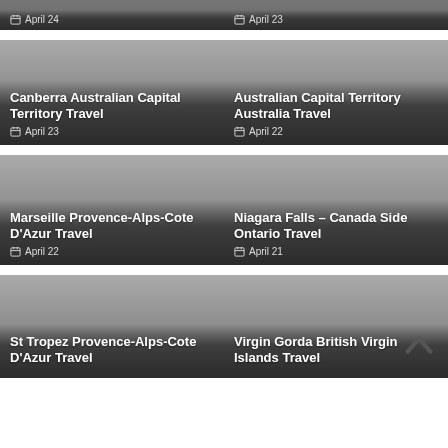[Figure (photo): Travel card partially visible at top, date April 24]
[Figure (photo): Travel card partially visible at top, date April 23]
[Figure (photo): Canberra Australian Capital Territory Travel, April 23]
[Figure (photo): Australian Capital Territory Australia Travel, April 22]
[Figure (photo): Marseille Provence-Alps-Cote D'Azur Travel, April 22]
[Figure (photo): Niagara Falls – Canada Side Ontario Travel, April 21]
[Figure (photo): St Tropez Provence-Alps-Cote D'Azur Travel (partial)]
[Figure (photo): Virgin Gorda British Virgin Islands Travel (partial)]